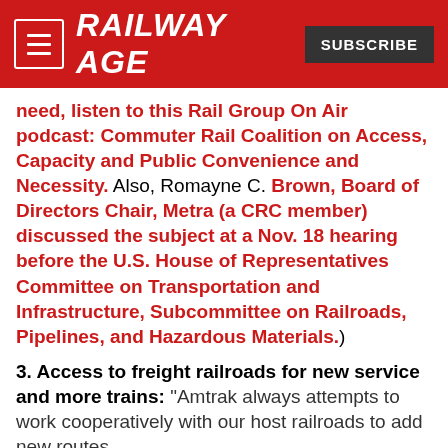RAILWAY AGE | SUBSCRIBE
need, listen to this Rail Group On Air podcast: Commuter Rail Coalition on Access, Capacity and Public Convenience and Necessity. Also, Romayne C. Brown, Board of Directors Chair, Metra (a CRC member) discussed the subject at a Nov. 18 hearing before the U.S. House of Representatives Committee on Transportation and Infrastructure, Subcommittee on Railroads, Pipelines, and Hazardous Materials.)
3. Access to freight railroads for new service and more trains:
“Amtrak always attempts to work cooperatively with our host railroads to add new routes,